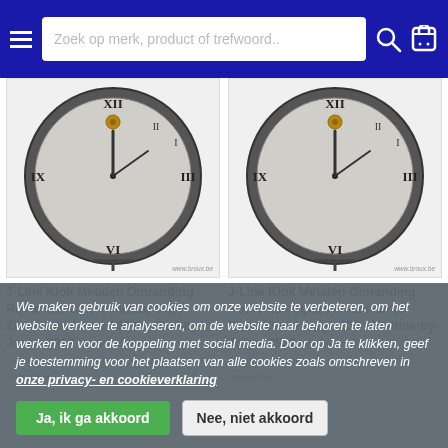Zoek op merk, product of trefwoord..
[Figure (photo): J-Line wall clock with metal frame and Roman numerals, grey-black-gold, small size. Product image on white/light background with watermark www.broux.be]
J-Line Klok Metalen Omranding Romeinse Cijfers Metaal Grijs-Zwart-Goud Small 69 69 Jline-by-Jolipa-2919 klokken-wandklokken-muurklokken-horloges-murales-wall-clocks-wanduhren
[Figure (photo): J-Line wall clock with metal frame and Roman numerals, grey-black-gold, large size. Product image on white/light background with watermark www.broux.be]
J-Line Klok Metalen Omranding Romeinse Cijfers Metaal Grijs-Zwart-Goud Large 109 109 Jline-by-Jolipa-2920 klokken-wandklokken-muurklokken-horloges-murales-wall-clocks-wanduhren
We maken gebruik van cookies om onze website te verbeteren, om het website verkeer te analyseren, om de website naar behoren te laten werken en voor de koppeling met social media. Door op Ja te klikken, geef je toestemming voor het plaatsen van alle cookies zoals omschreven in onze privacy- en cookieverklaring